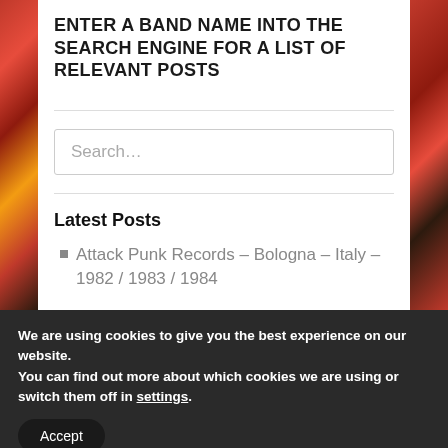ENTER A BAND NAME INTO THE SEARCH ENGINE FOR A LIST OF RELEVANT POSTS
[Figure (screenshot): Search input box with placeholder text 'Search...']
Latest Posts
Attack Punk Records – Bologna – Italy – 1982 / 1983 / 1984
We are using cookies to give you the best experience on our website.
You can find out more about which cookies we are using or switch them off in settings.
Accept